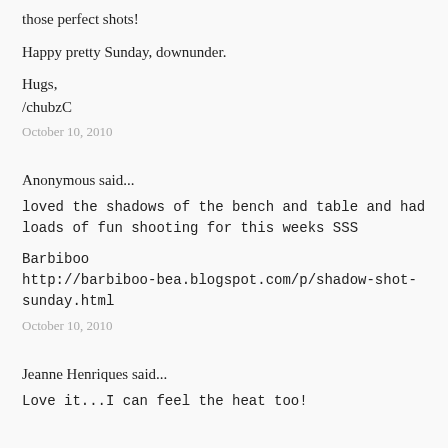those perfect shots!
Happy pretty Sunday, downunder.
Hugs,
/chubzC
October 10, 2010
Anonymous said...
loved the shadows of the bench and table and had loads of fun shooting for this weeks SSS
Barbiboo
http://barbiboo-bea.blogspot.com/p/shadow-shot-sunday.html
October 10, 2010
Jeanne Henriques said...
Love it...I can feel the heat too!